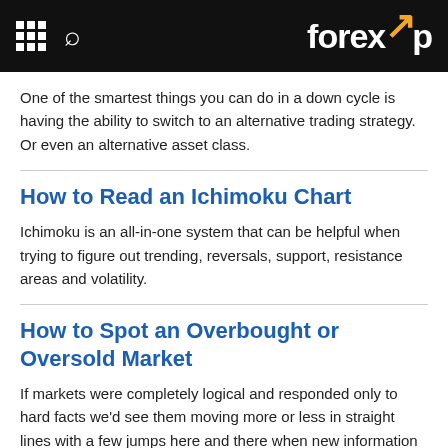forexop
One of the smartest things you can do in a down cycle is having the ability to switch to an alternative trading strategy. Or even an alternative asset class.
How to Read an Ichimoku Chart
Ichimoku is an all-in-one system that can be helpful when trying to figure out trending, reversals, support, resistance areas and volatility.
How to Spot an Overbought or Oversold Market
If markets were completely logical and responded only to hard facts we'd see them moving more or less in straight lines with a few jumps here and there when new information arrives.